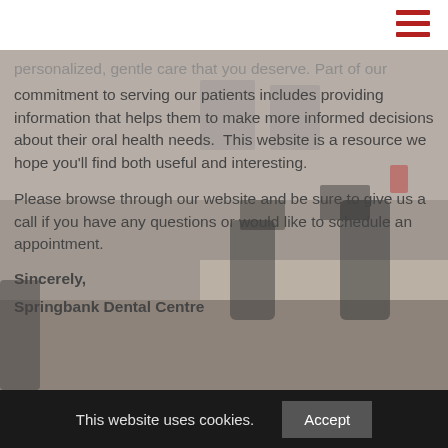[Figure (photo): Background photo of a dental office interior with chairs and desks, partially visible behind text overlay]
personalized, gentle care that you deserve. Part of our commitment to serving our patients includes providing information that helps them to make more informed decisions about their oral health needs.  This website is a resource we hope you'll find both useful and interesting.
Please browse through our website and be sure to give us a call if you have any questions or would like to schedule an appointment.
Sincerely,
Springbank Dental Centre
This website uses cookies.  Accept